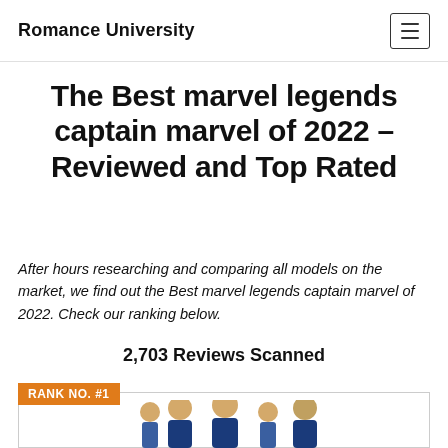Romance University
The Best marvel legends captain marvel of 2022 – Reviewed and Top Rated
After hours researching and comparing all models on the market, we find out the Best marvel legends captain marvel of 2022. Check our ranking below.
2,703 Reviews Scanned
RANK NO. #1
[Figure (photo): Partially visible image of Marvel Legends Captain Marvel action figures at the bottom of the page]